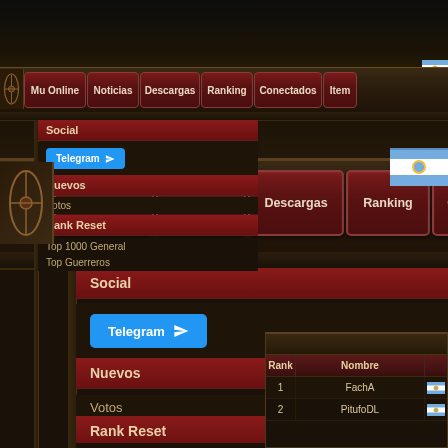Mu Online | Noticias | Descargas | Ranking | Conectados | Items
Social
Telegram
Nuevos
Votos
Rank Reset
Top 1000 General
Top Guerreros
| Rank | Nombre |  |
| --- | --- | --- |
| 1 | FachA | AR |
| 2 | PitufoDL | AR |